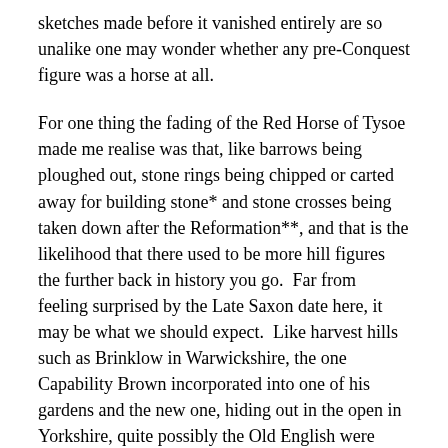sketches made before it vanished entirely are so unalike one may wonder whether any pre-Conquest figure was a horse at all.
For one thing the fading of the Red Horse of Tysoe made me realise was that, like barrows being ploughed out, stone rings being chipped or carted away for building stone* and stone crosses being taken down after the Reformation**, and that is the likelihood that there used to be more hill figures the further back in history you go.  Far from feeling surprised by the Late Saxon date here, it may be what we should expect.  Like harvest hills such as Brinklow in Warwickshire, the one Capability Brown incorporated into one of his gardens and the new one, hiding out in the open in Yorkshire, quite possibly the Old English were more familiar with the sight of hill figures than we are.
	I've certainly dared to portray a since-lost one in Free Mercia in my book, loosely based on a Scandinavian petroglyph of a Bronze Age ship ( by